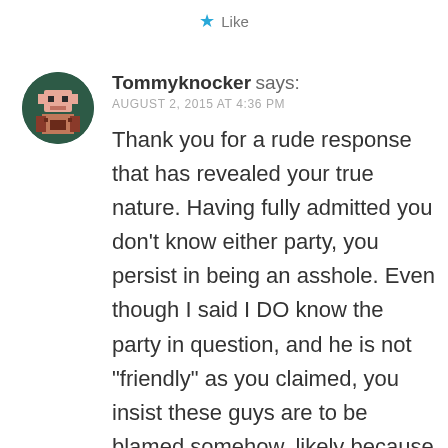[Figure (illustration): Like button with a blue star icon and the word 'Like' in grey text]
[Figure (illustration): Pixel art avatar of a character in dark green circle, used as a user profile picture]
Tommyknocker says:
AUGUST 2, 2015 AT 4:36 PM
Thank you for a rude response that has revealed your true nature. Having fully admitted you don't know either party, you persist in being an asshole. Even though I said I DO know the party in question, and he is not “friendly” as you claimed, you insist these guys are to be blamed somehow, likely because